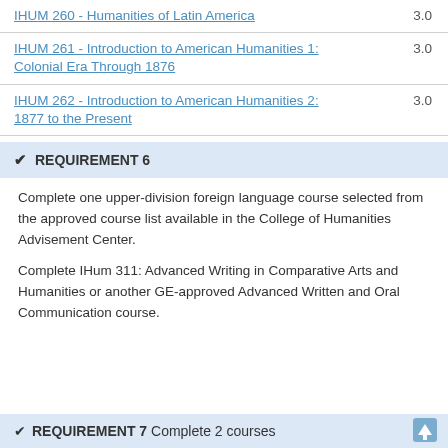| Course | Credits |
| --- | --- |
| IHUM 260 - Humanities of Latin America | 3.0 |
| IHUM 261 - Introduction to American Humanities 1: Colonial Era Through 1876 | 3.0 |
| IHUM 262 - Introduction to American Humanities 2: 1877 to the Present | 3.0 |
✔ REQUIREMENT 6
Complete one upper-division foreign language course selected from the approved course list available in the College of Humanities Advisement Center.
Complete IHum 311: Advanced Writing in Comparative Arts and Humanities or another GE-approved Advanced Written and Oral Communication course.
✔ REQUIREMENT 7 Complete 2 courses